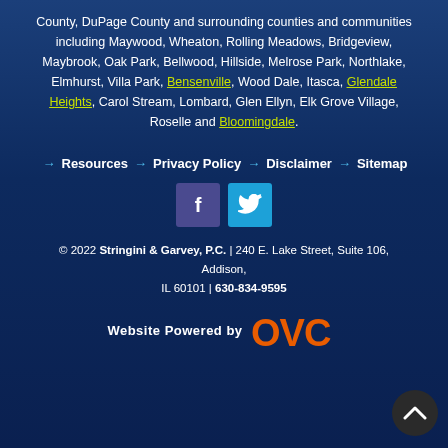County, DuPage County and surrounding counties and communities including Maywood, Wheaton, Rolling Meadows, Bridgeview, Maybrook, Oak Park, Bellwood, Hillside, Melrose Park, Northlake, Elmhurst, Villa Park, Bensenville, Wood Dale, Itasca, Glendale Heights, Carol Stream, Lombard, Glen Ellyn, Elk Grove Village, Roselle and Bloomingdale.
Resources
Privacy Policy
Disclaimer
Sitemap
[Figure (logo): Facebook icon - dark purple square with white F]
[Figure (logo): Twitter icon - cyan square with white bird]
© 2022 Stringini & Garvey, P.C. | 240 E. Lake Street, Suite 106, Addison, IL 60101 | 630-834-9595
Website Powered by OVC